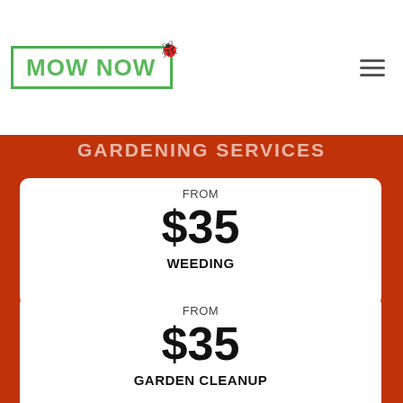[Figure (logo): MOW NOW logo in green text inside a green rectangle border, with a ladybug icon on the top right corner]
GARDENING SERVICES
FROM
$35
WEEDING
FROM
$35
GARDEN CLEANUP
FROM